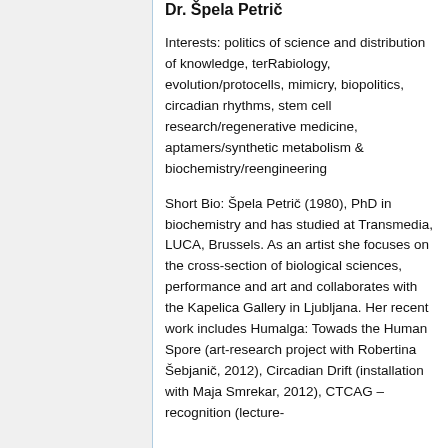Dr. Špela Petrič
Interests: politics of science and distribution of knowledge, terRabiology, evolution/protocells, mimicry, biopolitics, circadian rhythms, stem cell research/regenerative medicine, aptamers/synthetic metabolism & biochemistry/reengineering
Short Bio: Špela Petrič (1980), PhD in biochemistry and has studied at Transmedia, LUCA, Brussels. As an artist she focuses on the cross-section of biological sciences, performance and art and collaborates with the Kapelica Gallery in Ljubljana. Her recent work includes Humalga: Towads the Human Spore (art-research project with Robertina Šebjanič, 2012), Circadian Drift (installation with Maja Smrekar, 2012), CTCAG – recognition (lecture-